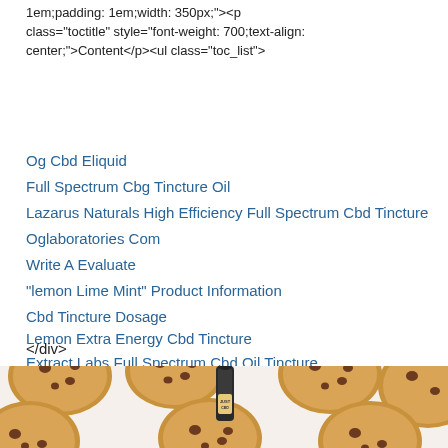1em;padding: 1em;width: 350px;"><p class="toctitle" style="font-weight: 700;text-align: center;">Content</p><ul class="toc_list">
Og Cbd Eliquid
Full Spectrum Cbg Tincture Oil
Lazarus Naturals High Efficiency Full Spectrum Cbd Tincture
Oglaboratories Com
Write A Evaluate
“lemon Lime Mint” Product Information
Cbd Tincture Dosage
Lemon Extra Energy Cbd Tincture
Extract Labs Full Spectrum Cbd Oil Tincture
</div>
[Figure (photo): Overhead view of chocolate chip cookies arranged on a white surface with a small bottle of Just CBD tincture in the center]